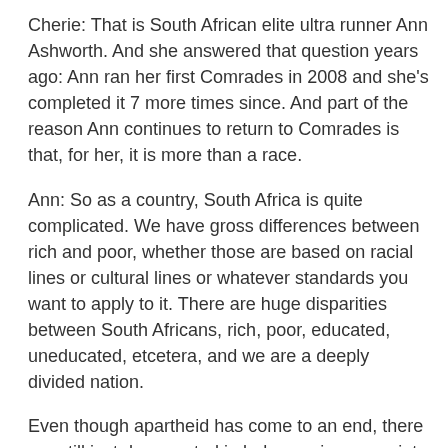Cherie: That is South African elite ultra runner Ann Ashworth. And she answered that question years ago: Ann ran her first Comrades in 2008 and she's completed it 7 more times since. And part of the reason Ann continues to return to Comrades is that, for her, it is more than a race.
Ann: So as a country, South Africa is quite complicated. We have gross differences between rich and poor, whether those are based on racial lines or cultural lines or whatever standards you want to apply to it. There are huge disparities between South Africans, rich, poor, educated, uneducated, etcetera, and we are a deeply divided nation.
Even though apartheid has come to an end, there are still just deep rooted imbalances in our society. And there's a lot of unhappiness that circulates around that, but running in South Africa is a great leveler of people. It doesn't matter how educated you are; it doesn't matter where you live; it doesn't matter what you earn; it doesn't matter what skin color you have. We're all in the same